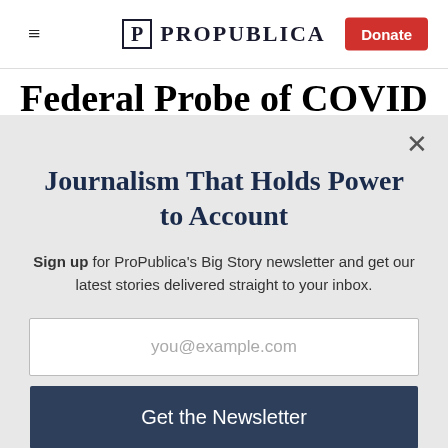ProPublica — Donate
Federal Probe of COVID
Journalism That Holds Power to Account
Sign up for ProPublica's Big Story newsletter and get our latest stories delivered straight to your inbox.
you@example.com
Get the Newsletter
No thanks, I'm all set
This site is protected by reCAPTCHA and the Google Privacy Policy and Terms of Service apply.